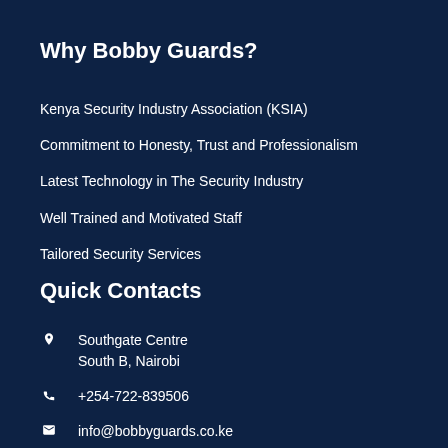Why Bobby Guards?
Kenya Security Industry Association (KSIA)
Commitment to Honesty, Trust and Professionalism
Latest Technology in The Security Industry
Well Trained and Motivated Staff
Tailored Security Services
Quick Contacts
Southgate Centre
South B, Nairobi
+254-722-839506
info@bobbyguards.co.ke